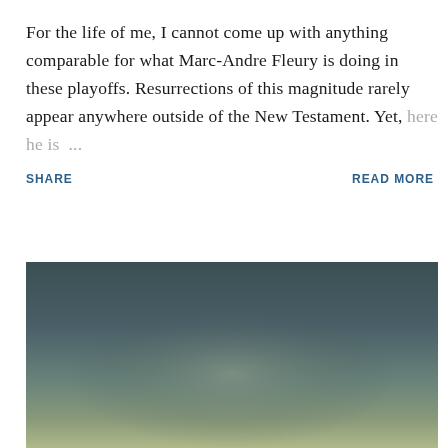For the life of me, I cannot come up with anything comparable for what Marc-Andre Fleury is doing in these playoffs. Resurrections of this magnitude rarely appear anywhere outside of the New Testament. Yet, here he is ...
SHARE    READ MORE
[Figure (photo): Dark gradient photograph — appears to be an outdoor scene with a muted blue-green gradient transitioning from dark at the top to lighter/yellowish at the bottom]